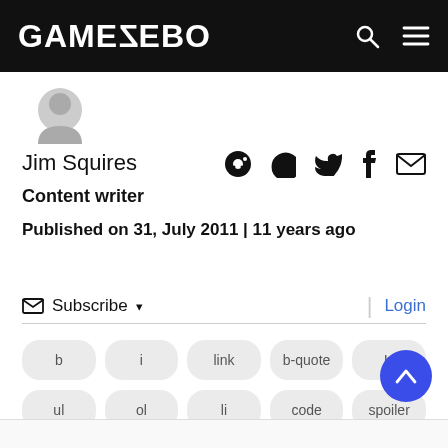GAMEZEBO
[Figure (illustration): Grey user avatar placeholder silhouette]
Jim Squires
Content writer
Published on 31, July 2011 | 11 years ago
Subscribe  Login
b
i
link
b-quote
U
ul
ol
li
code
spoiler